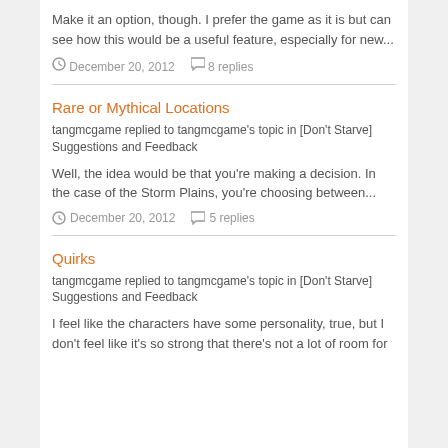Make it an option, though. I prefer the game as it is but can see how this would be a useful feature, especially for new...
December 20, 2012   8 replies
Rare or Mythical Locations
tangmcgame replied to tangmcgame's topic in [Don't Starve] Suggestions and Feedback
Well, the idea would be that you're making a decision. In the case of the Storm Plains, you're choosing between...
December 20, 2012   5 replies
Quirks
tangmcgame replied to tangmcgame's topic in [Don't Starve] Suggestions and Feedback
I feel like the characters have some personality, true, but I don't feel like it's so strong that there's not a lot of room for